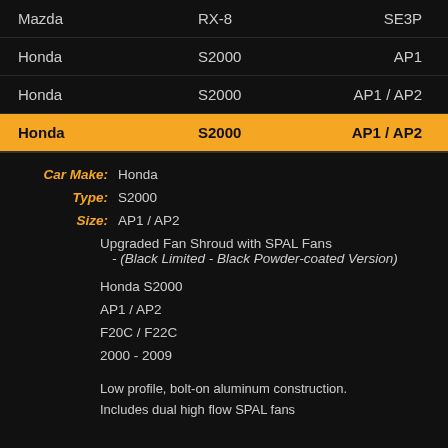| Make | Model | Size |
| --- | --- | --- |
| Mazda | RX-8 | SE3P |
| Honda | S2000 | AP1 |
| Honda | S2000 | AP1 / AP2 |
| Honda | S2000 | AP1 / AP2 |
Car Make: Honda
Type: S2000
Size: AP1 / AP2
Upgraded Fan Shroud with SPAL Fans - (Black Limited - Black Powder-coated Version)
Honda S2000
AP1 / AP2
F20C / F22C
2000 - 2009
Low profile, bolt-on aluminum construction.
Includes dual high flow SPAL fans